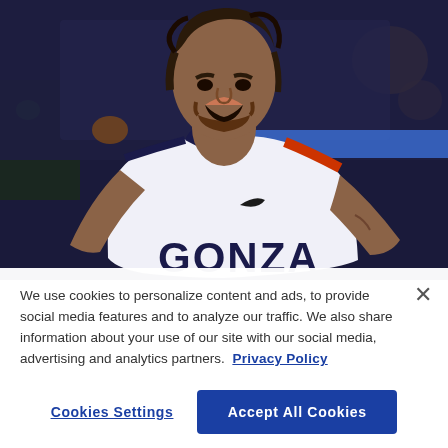[Figure (photo): A basketball player in a white Gonzaga jersey with navy blue trim, mouth open in a celebratory shout, photographed in an arena setting with blurred background lights.]
We use cookies to personalize content and ads, to provide social media features and to analyze our traffic. We also share information about your use of our site with our social media, advertising and analytics partners. Privacy Policy
Cookies Settings
Accept All Cookies